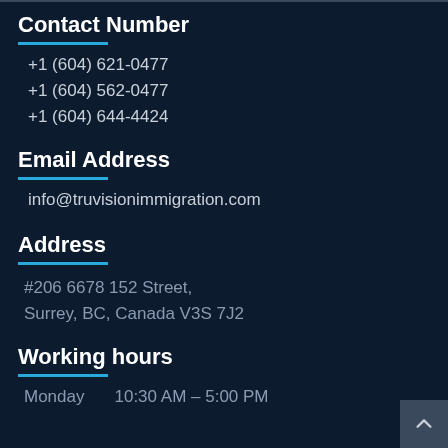Contact Number
+1 (604) 621-0477
+1 (604) 562-0477
+1 (604) 644-4424
Email Address
info@truvisionimmigration.com
Address
#206 6678 152 Street, Surrey, BC, Canada V3S 7J2
Working hours
Monday    10:30 AM – 5:00 PM